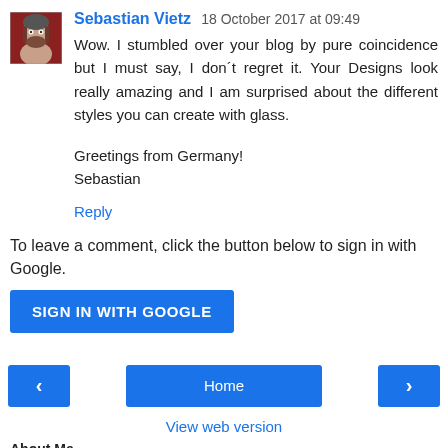Sebastian Vietz  18 October 2017 at 09:49
Wow. I stumbled over your blog by pure coincidence but I must say, I don´t regret it. Your Designs look really amazing and I am surprised about the different styles you can create with glass.

Greetings from Germany!
Sebastian
Reply
To leave a comment, click the button below to sign in with Google.
[Figure (other): SIGN IN WITH GOOGLE button]
[Figure (other): Navigation buttons: left arrow, Home, right arrow]
View web version
About Me